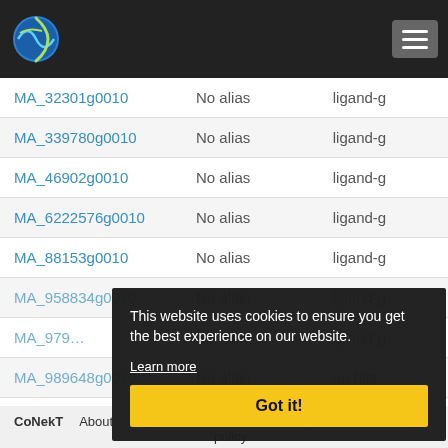[Figure (screenshot): Navigation bar with globe logo and hamburger menu button on dark background]
| Gene ID | Alias | Description |
| --- | --- | --- |
| MA_32301g0010 | No alias | ligand-g… |
| MA_339780g0010 | No alias | ligand-g… |
| MA_46902g0010 | No alias | ligand-g… |
| MA_6222576g0010 | No alias | ligand-g… |
| MA_88153g0010 | No alias | ligand-g… |
| MA_958834g0010 | No alias | ligand-g… |
| MA_979… | No alias | ligand-g… |
| MA_989648g0010 | No alias | no hits |
| Mp1g01040.1 | No alias | ligand-… |
| Solyc02g082480.3.1 | No alias | ligand-g… |
This website uses cookies to ensure you get the best experience on our website. Learn more Got it!
CoNekT  About  Contact  Disclaimer  Privacy policy